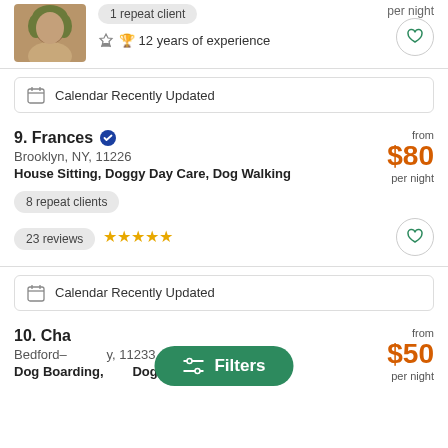[Figure (photo): Profile photo of a person with green/brown hair, top-left corner, partially cropped]
per night
1 repeat client
12 years of experience
Calendar Recently Updated
9. Frances
Brooklyn, NY, 11226
House Sitting, Doggy Day Care, Dog Walking
from $80 per night
8 repeat clients
23 reviews ★★★★★
Calendar Recently Updated
10. Cha...
Bedford-..., NY, 11233
Dog Boarding, House Sitting, Doggy Day Care
from $50 per night
Filters